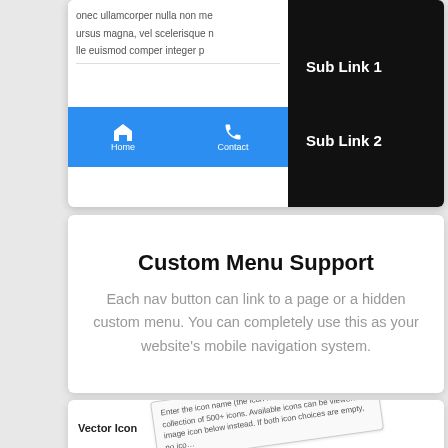[Figure (screenshot): Mobile app screenshot showing navigation bar with Home and Contact buttons, and a dark dropdown menu with Sub Link 1 and Sub Link 2]
Custom Menu Support
Each nav button can link to a page or a hidden custom menu. You can completely use this as your website's mobile navigation system.
[Figure (screenshot): Admin interface screenshot showing Vector Icon and Image Icon fields with rotated tooltip explanations and a Select Image button]